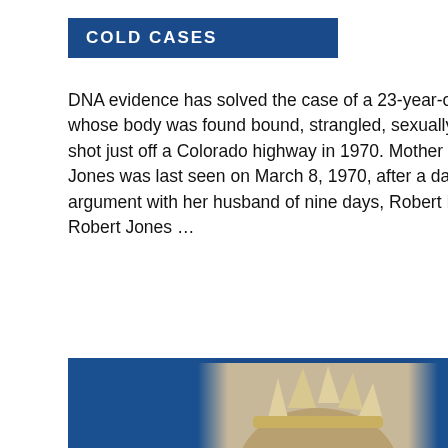COLD CASES
DNA evidence has solved the case of a 23-year-old newlywed whose body was found bound, strangled, sexually assaulted, and shot just off a Colorado highway in 1970. Mother of two Betty Lee Jones was last seen on March 8, 1970, after a days-long argument with her husband of nine days, Robert Ray Jones. Robert Jones …
[Figure (photo): Vintage sepia-toned portrait photo of a young girl wearing a decorative crown or headdress, displayed against a blue background]